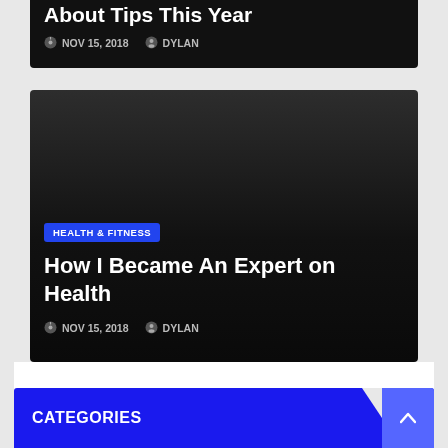[Figure (screenshot): Top portion of a dark blog post card (cropped), showing date NOV 15, 2018 and author DYLAN metadata on black background]
NOV 15, 2018   DYLAN
[Figure (screenshot): Blog post card with dark gradient background, HEALTH & FITNESS blue badge, title 'How I Became An Expert on Health', date NOV 15, 2018, author DYLAN]
How I Became An Expert on Health
NOV 15, 2018   DYLAN
CATEGORIES